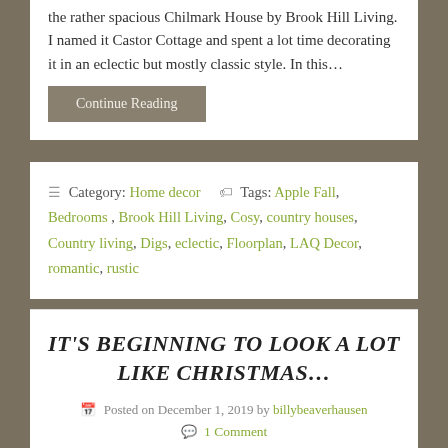the rather spacious Chilmark House by Brook Hill Living. I named it Castor Cottage and spent a lot time decorating it in an eclectic but mostly classic style. In this…
Continue Reading
≡ Category: Home decor  🏷 Tags: Apple Fall, Bedrooms, Brook Hill Living, Cosy, country houses, Country living, Digs, eclectic, Floorplan, LAQ Decor, romantic, rustic
IT'S BEGINNING TO LOOK A LOT LIKE CHRISTMAS…
Posted on December 1, 2019 by billybeaverhausen
1 Comment